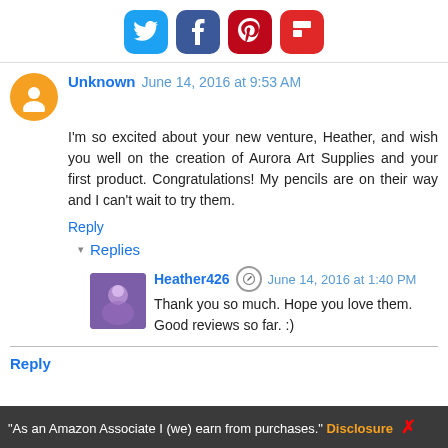[Figure (other): Social sharing icons: Twitter (blue bird), Facebook (blue f), Pinterest (red P), Flipboard (red F)]
Unknown June 14, 2016 at 9:53 AM
I'm so excited about your new venture, Heather, and wish you well on the creation of Aurora Art Supplies and your first product. Congratulations! My pencils are on their way and I can't wait to try them.
Reply
▾ Replies
Heather426 June 14, 2016 at 1:40 PM
Thank you so much. Hope you love them. Good reviews so far. :)
Reply
"As an Amazon Associate I (we) earn from purchases." Disclosure ✗